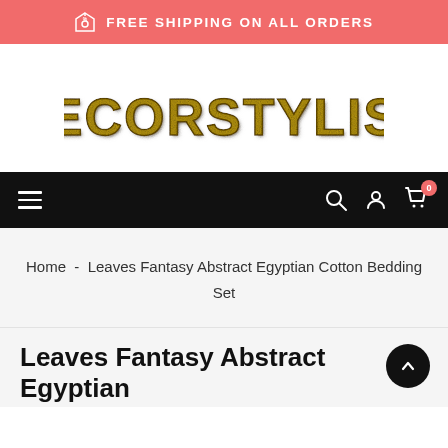FREE SHIPPING ON ALL ORDERS
[Figure (logo): DECORSTYLISH logo in gold/olive glittery block letters on white background]
[Figure (screenshot): Black navigation bar with hamburger menu icon on left, and search, account, cart (0) icons on right]
Home  -  Leaves Fantasy Abstract Egyptian Cotton Bedding Set
Leaves Fantasy Abstract Egyptian